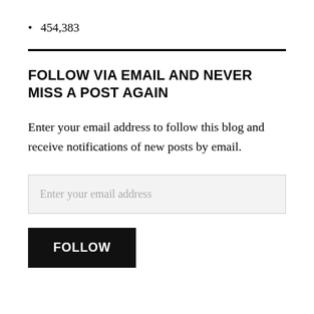454,383
FOLLOW VIA EMAIL AND NEVER MISS A POST AGAIN
Enter your email address to follow this blog and receive notifications of new posts by email.